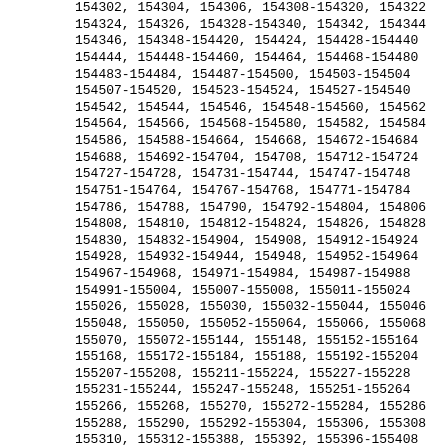154302, 154304, 154306, 154308-154320, 154322
154324, 154326, 154328-154340, 154342, 154344
154346, 154348-154420, 154424, 154428-154440
154444, 154448-154460, 154464, 154468-154480
154483-154484, 154487-154500, 154503-154504
154507-154520, 154523-154524, 154527-154540
154542, 154544, 154546, 154548-154560, 154562
154564, 154566, 154568-154580, 154582, 154584
154586, 154588-154664, 154668, 154672-154684
154688, 154692-154704, 154708, 154712-154724
154727-154728, 154731-154744, 154747-154748
154751-154764, 154767-154768, 154771-154784
154786, 154788, 154790, 154792-154804, 154806
154808, 154810, 154812-154824, 154826, 154828
154830, 154832-154904, 154908, 154912-154924
154928, 154932-154944, 154948, 154952-154964
154967-154968, 154971-154984, 154987-154988
154991-155004, 155007-155008, 155011-155024
155026, 155028, 155030, 155032-155044, 155046
155048, 155050, 155052-155064, 155066, 155068
155070, 155072-155144, 155148, 155152-155164
155168, 155172-155184, 155188, 155192-155204
155207-155208, 155211-155224, 155227-155228
155231-155244, 155247-155248, 155251-155264
155266, 155268, 155270, 155272-155284, 155286
155288, 155290, 155292-155304, 155306, 155308
155310, 155312-155388, 155392, 155396-155408
155412, 155416-155428, 155432, 155436-155448
155451-155452, 155455-155468, 155471-155472
155475-155488, 155491-155492, 155495-155508
155510, 155512, 155514, 155516-155528, 155530
155532, 155534, 155536-155548, 155550, 155552
155554, 155556-155628, 155632, 155636-155648